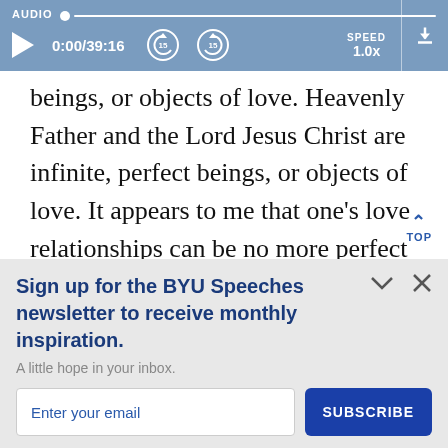[Figure (screenshot): Audio player bar with progress track, play button showing 0:00/39:16, skip buttons labeled 15, speed set to 1.0x, and download icon]
beings, or objects of love. Heavenly Father and the Lord Jesus Christ are infinite, perfect beings, or objects of love. It appears to me that one's love relationships can be no more perfect or higher than his supreme love
Sign up for the BYU Speeches newsletter to receive monthly inspiration.
A little hope in your inbox.
Enter your email
SUBSCRIBE